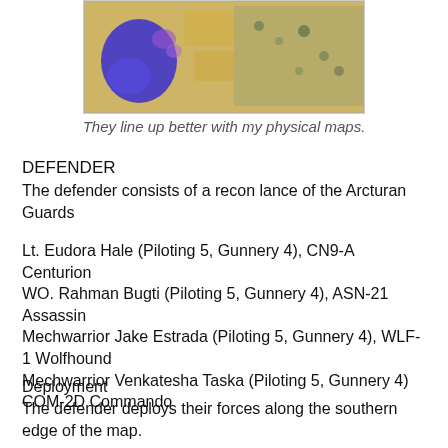[Figure (map): A fantasy/game map showing terrain with blue regions, yellow hexagonal areas, and colorful markings.]
They line up better with my physical maps.
DEFENDER
The defender consists of a recon lance of the Arcturan Guards
Lt. Eudora Hale (Piloting 5, Gunnery 4), CN9-A Centurion
WO. Rahman Bugti (Piloting 5, Gunnery 4), ASN-21 Assassin
Mechwarrior Jake Estrada (Piloting 5, Gunnery 4), WLF-1 Wolfhound
Mechwarrior Venkatesha Taska (Piloting 5, Gunnery 4) COM-2D Commando
Deployment
The defender deploys their forces along the southern edge of the map.